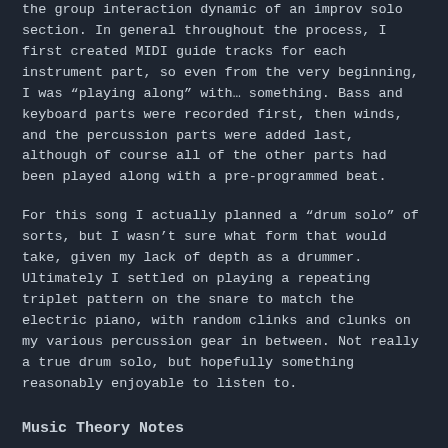the group interaction dynamic of an improv solo section. In general throughout the process, I first created MIDI guide tracks for each instrument part, so even from the very beginning, I was “playing along” with… something. Bass and keyboard parts were recorded first, then winds, and the percussion parts were added last, although of course all of the other parts had been played along with a pre-programmed beat.
For this song I actually planned a “drum solo” of sorts, but I wasn’t sure what form that would take, given my lack of depth as a drummer. Ultimately I settled on playing a repeating triplet pattern on the snare to match the electric piano, with random clinks and clunks on my various percussion gear in between. Not really a true drum solo, but hopefully something reasonably enjoyable to listen to.
Music Theory Notes
The head is in 3/4. On the original recording, the solo section goes into an open-feeling 4/4. In this version, the